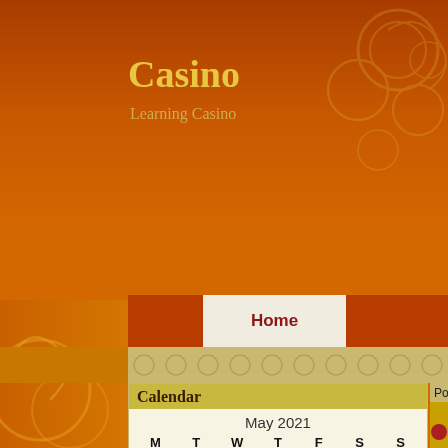Casino
Learning Casino
Home
Calendar
| M | T | W | T | F | S | S |
| --- | --- | --- | --- | --- | --- | --- |
|  |  |  |  | 1 | 2 |  |
| 3 | 4 | 5 | 6 | 7 | 8 | 9 |
| 10 | 11 | 12 | 13 | 14 | 15 | 16 |
| 17 | 18 | 19 | 20 | 21 | 22 | 23 |
| 24 | 25 | 26 | 27 | 28 | 29 | 30 |
« Apr
Jun »
Posted in Casino on 05/11/2021 03
[Figure (photo): Slot machine image with casino symbols including 7, cherry, grapes, and other fruit symbols. Animated style with gold and colorful graphics.]
Archives